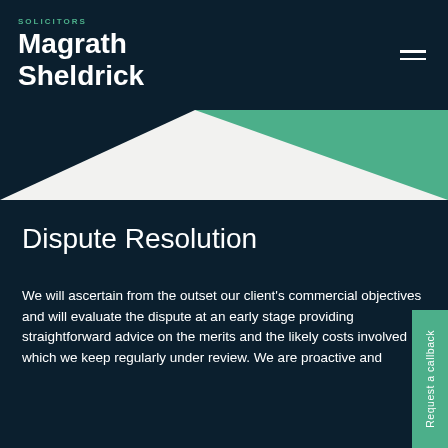SOLICITORS
Magrath Sheldrick
[Figure (illustration): Green geometric triangle shape on light background, decorative section divider]
Dispute Resolution
We will ascertain from the outset our client's commercial objectives and will evaluate the dispute at an early stage providing straightforward advice on the merits and the likely costs involved which we keep regularly under review. We are proactive and
Request a callback